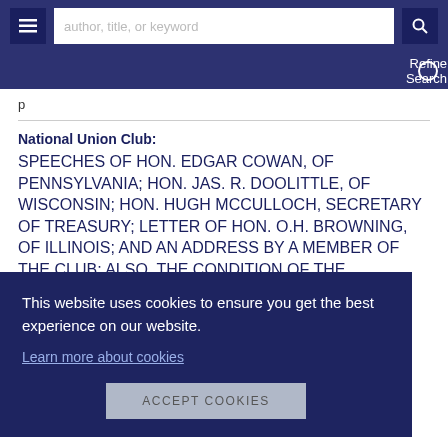author, title, or keyword | Refine Search
p
National Union Club:
SPEECHES OF HON. EDGAR COWAN, OF PENNSYLVANIA; HON. JAS. R. DOOLITTLE, OF WISCONSIN; HON. HUGH MCCULLOCH, SECRETARY OF TREASURY; LETTER OF HON. O.H. BROWNING, OF ILLINOIS; AND AN ADDRESS BY A MEMBER OF THE CLUB; ALSO, THE CONDITION OF THE
2pp, form first es from rt on conditions..... More >
This website uses cookies to ensure you get the best experience on our website.
Learn more about cookies
ACCEPT COOKIES